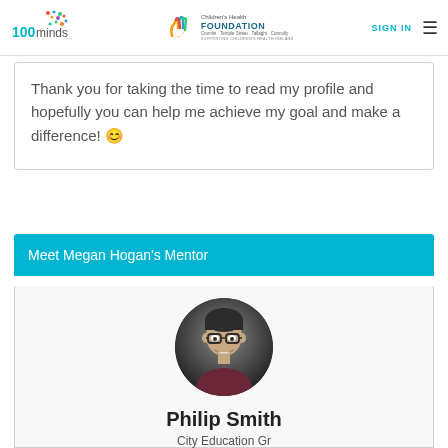100minds | Children's Health Foundation | SIGN IN
Thank you for taking the time to read my profile and hopefully you can help me achieve my goal and make a difference! 😊
Meet Megan Hogan's Mentor
[Figure (photo): Circular profile photo of Philip Smith, a man with glasses and dark hair, smiling, wearing a dark shirt]
Philip Smith
City Education Gr